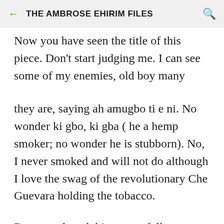THE AMBROSE EHIRIM FILES
Now you have seen the title of this piece. Don't start judging me. I can see some of my enemies, old boy many
they are, saying ah amugbo ti e ni. No wonder ki gbo, ki gba ( he a hemp smoker; no wonder he is stubborn). No, I never smoked and will not do although I love the swag of the revolutionary Che Guevara holding the tobacco.
Do try and read this as you follow me on a journey with Abami Eda, Fela Anikulapo – Kuti